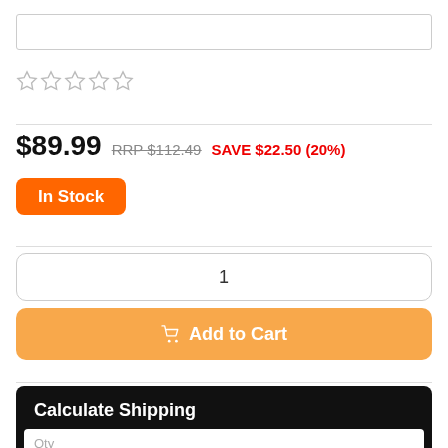[Figure (other): Search input bar at the top of the page]
[Figure (other): Five empty star rating icons]
$89.99  RRP $112.49  SAVE $22.50 (20%)
In Stock
1
Add to Cart
Calculate Shipping
Qty